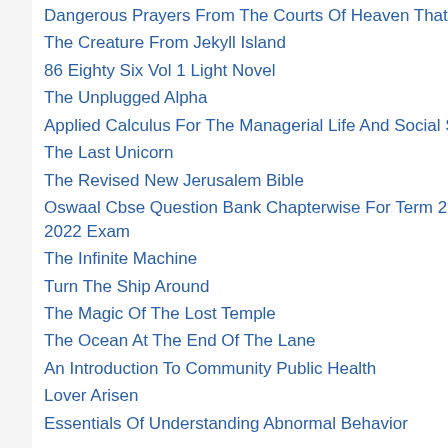Dangerous Prayers From The Courts Of Heaven That Destroy Evil Altars
The Creature From Jekyll Island
86 Eighty Six Vol 1 Light Novel
The Unplugged Alpha
Applied Calculus For The Managerial Life And Social Sciences A Brief Approach
The Last Unicorn
The Revised New Jerusalem Bible
Oswaal Cbse Question Bank Chapterwise For Term 2 Class 12 Physical Education For 2022 Exam
The Infinite Machine
Turn The Ship Around
The Magic Of The Lost Temple
The Ocean At The End Of The Lane
An Introduction To Community Public Health
Lover Arisen
Essentials Of Understanding Abnormal Behavior